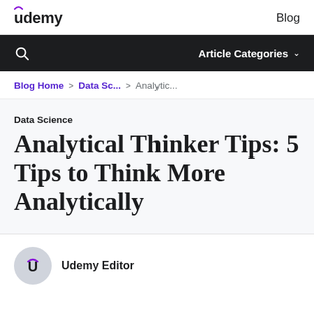udemy | Blog
Article Categories
Blog Home > Data Sc... > Analytic...
Data Science
Analytical Thinker Tips: 5 Tips to Think More Analytically
Udemy Editor